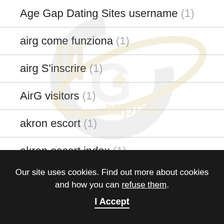Age Gap Dating Sites username (1)
airg come funziona (1)
airg S'inscrire (1)
AirG visitors (1)
akron escort (1)
akron escort index (1)
akron live escort reviews (1)
[Figure (logo): illGraphix watermark logo — silver and gold stylized letters with orbital ring graphic]
Our site uses cookies. Find out more about cookies and how you can refuse them.
I Accept